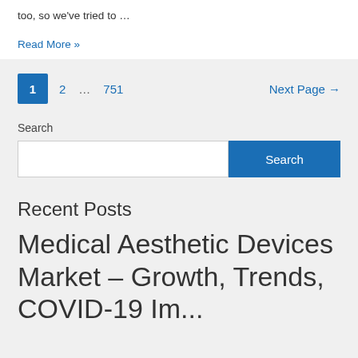too, so we've tried to …
Read More »
1  2  …  751  Next Page →
Search
Search
Recent Posts
Medical Aesthetic Devices Market – Growth, Trends, COVID-19 Impact, and ...